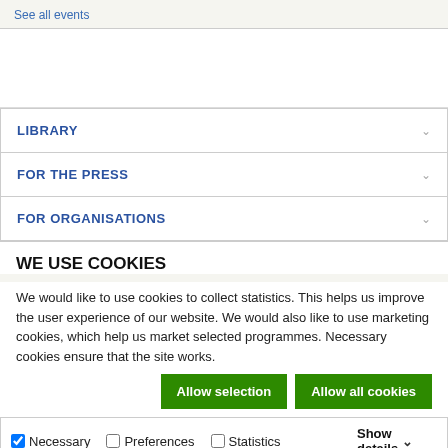See all events
LIBRARY
FOR THE PRESS
FOR ORGANISATIONS
WE USE COOKIES
We would like to use cookies to collect statistics. This helps us improve the user experience of our website. We would also like to use marketing cookies, which help us market selected programmes. Necessary cookies ensure that the site works.
Allow selection | Allow all cookies
Necessary  Preferences  Statistics  Marketing  Show details